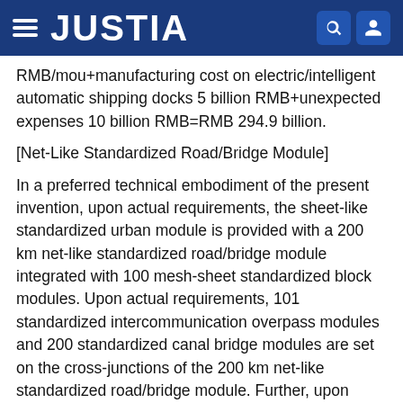JUSTIA
( ), RMB/mou+manufacturing cost on electric/intelligent automatic shipping docks 5 billion RMB+unexpected expenses 10 billion RMB=RMB 294.9 billion.
[Net-Like Standardized Road/Bridge Module]
In a preferred technical embodiment of the present invention, upon actual requirements, the sheet-like standardized urban module is provided with a 200 km net-like standardized road/bridge module integrated with 100 mesh-sheet standardized block modules. Upon actual requirements, 101 standardized intercommunication overpass modules and 200 standardized canal bridge modules are set on the cross-junctions of the 200 km net-like standardized road/bridge module. Further, upon actual requirements, the sheet-like standardized urban module, for example,